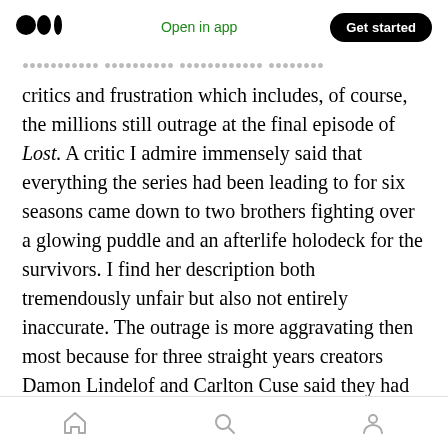Medium logo | Open in app | Get started
critics and frustration which includes, of course, the millions still outrage at the final episode of Lost. A critic I admire immensely said that everything the series had been leading to for six seasons came down to two brothers fighting over a glowing puddle and an afterlife holodeck for the survivors. I find her description both tremendously unfair but also not entirely inaccurate. The outrage is more aggravating then most because for three straight years creators Damon Lindelof and Carlton Cuse said they had been intricately plotting out the end of
Home | Search | Profile